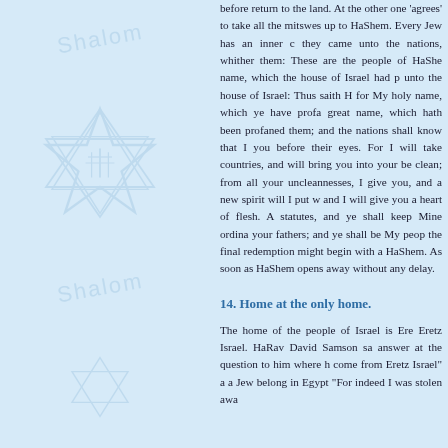[Figure (illustration): Light blue watermark background with Star of David symbols and 'Shalom' text repeated, arranged on the left side of the page]
before return to the land. At the other one 'agrees' to take all the mitswes up to HaShem. Every Jew has an inner c they came unto the nations, whither them: These are the people of HaShe name, which the house of Israel had p unto the house of Israel: Thus saith H for My holy name, which ye have profa great name, which hath been profaned them; and the nations shall know that I you before their eyes. For I will take countries, and will bring you into your be clean; from all your uncleannesses, I give you, and a new spirit will I put w and I will give you a heart of flesh. A statutes, and ye shall keep Mine ordina your fathers; and ye shall be My peop the final redemption might begin with a HaShem. As soon as HaShem opens away without any delay.
14. Home at the only home.
The home of the people of Israel is Ere Eretz Israel. HaRav David Samson sa answer at the question to him where h come from Eretz Israel" a a Jew belong in Egypt "For indeed I was stolen awa